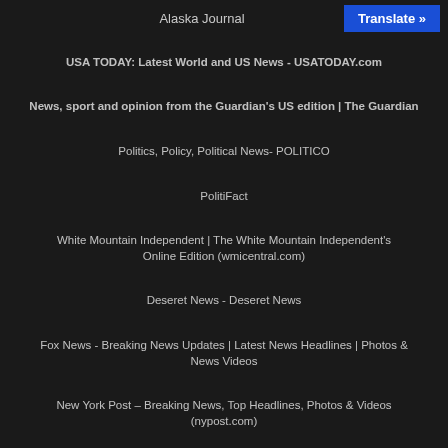Alaska Journal
USA TODAY: Latest World and US News - USATODAY.com
News, sport and opinion from the Guardian's US edition | The Guardian
Politics, Policy, Political News- POLITICO
PolitiFact
White Mountain Independent | The White Mountain Independent's Online Edition (wmicentral.com)
Deseret News - Deseret News
Fox News - Breaking News Updates | Latest News Headlines | Photos & News Videos
New York Post – Breaking News, Top Headlines, Photos & Videos (nypost.com)